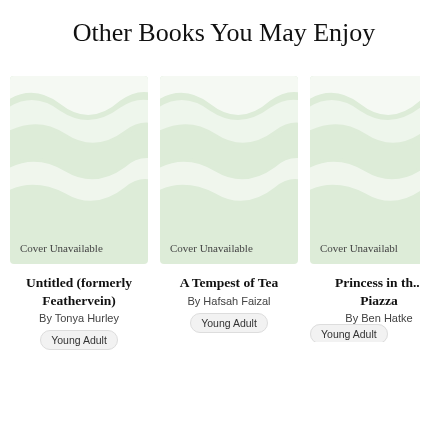Other Books You May Enjoy
[Figure (illustration): Book cover placeholder with light green background and white wave pattern, labeled 'Cover Unavailable']
Untitled (formerly Feathervein)
By Tonya Hurley
Young Adult
[Figure (illustration): Book cover placeholder with light green background and white wave pattern, labeled 'Cover Unavailable']
A Tempest of Tea
By Hafsah Faizal
Young Adult
[Figure (illustration): Book cover placeholder with light green background and white wave pattern and right arrow chevron, labeled 'Cover Unavailable' (partially clipped)]
Princess in th... Piazza
By Ben Hatke
Young Adult